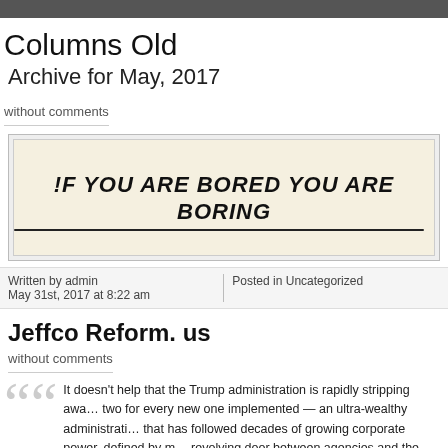Columns Old
Archive for May, 2017
without comments
[Figure (photo): Handwritten note on paper reading: !F YOU ARE BORED YOU ARE BORING with underline]
Written by admin
May 31st, 2017 at 8:22 am
Posted in Uncategorized
Jeffco Reform. us
without comments
It doesn't help that the Trump administration is rapidly stripping awa… two for every new one implemented — an ultra-wealthy administrati… that has followed decades of growing corporate power, defined by m… revolving door between agencies and the industries they oversee, a…